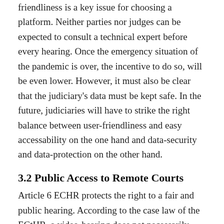friendliness is a key issue for choosing a platform. Neither parties nor judges can be expected to consult a technical expert before every hearing. Once the emergency situation of the pandemic is over, the incentive to do so, will be even lower. However, it must also be clear that the judiciary's data must be kept safe. In the future, judiciaries will have to strike the right balance between user-friendliness and easy accessability on the one hand and data-security and data-protection on the other hand.
3.2 Public Access to Remote Courts
Article 6 ECHR protects the right to a fair and public hearing. According to the case law of the ECtHR, a video-hearing does not necessarily violate fair trial rights.137 Access to hearings in important for both